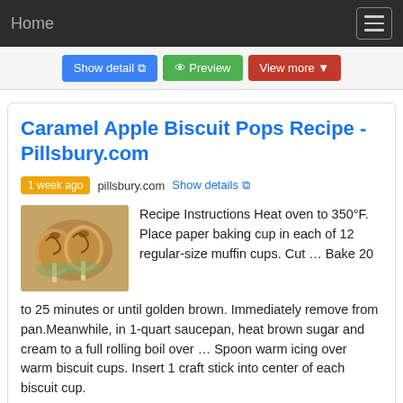Home
Show detail  Preview  View more
Caramel Apple Biscuit Pops Recipe - Pillsbury.com
1 week ago  pillsbury.com  Show details
[Figure (photo): Photo of caramel apple biscuit pops muffins]
Recipe Instructions Heat oven to 350°F. Place paper baking cup in each of 12 regular-size muffin cups. Cut … Bake 20 to 25 minutes or until golden brown. Immediately remove from pan.Meanwhile, in 1-quart saucepan, heat brown sugar and cream to a full rolling boil over … Spoon warm icing over warm biscuit cups. Insert 1 craft stick into center of each biscuit cup.
1. Heat oven to 350°F. Place paper baking cup in each of 12 regular-size muffin cups. Cut …